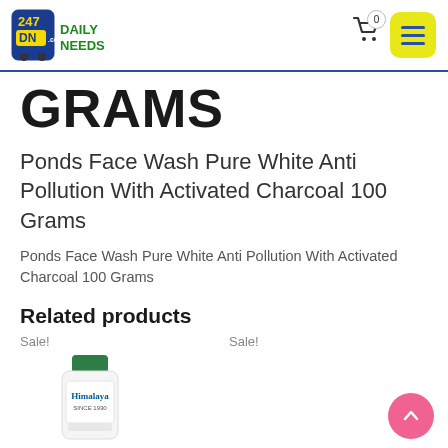[Figure (logo): 247 Daily Needs logo with shopping cart icon and green/blue branding]
GRAMS
Ponds Face Wash Pure White Anti Pollution With Activated Charcoal 100 Grams
Ponds Face Wash Pure White Anti Pollution With Activated Charcoal 100 Grams
Related products
Sale!
[Figure (photo): Himalaya product bottle with green cap]
Sale!